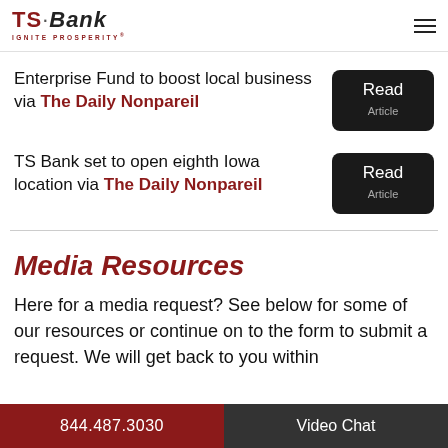[Figure (logo): TS Bank logo with 'IGNITE PROSPERITY' tagline]
Enterprise Fund to boost local business via The Daily Nonpareil
TS Bank set to open eighth Iowa location via The Daily Nonpareil
Media Resources
Here for a media request? See below for some of our resources or continue on to the form to submit a request. We will get back to you within
844.487.3030   Video Chat